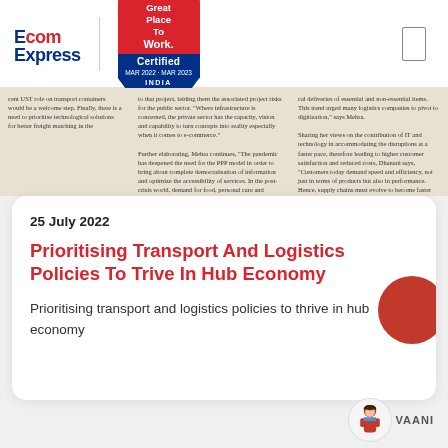[Figure (logo): Ecom Express logo in red and blue, with Great Place To Work Certified badge (MAR 2022 - MAR 2023, INDIA)]
[Figure (photo): Cropped newspaper article image showing dense text in three columns, partially legible]
25 July 2022
Prioritising Transport And Logistics Policies To Trive In Hub Economy
Prioritising transport and logistics policies to thrive in hub economy